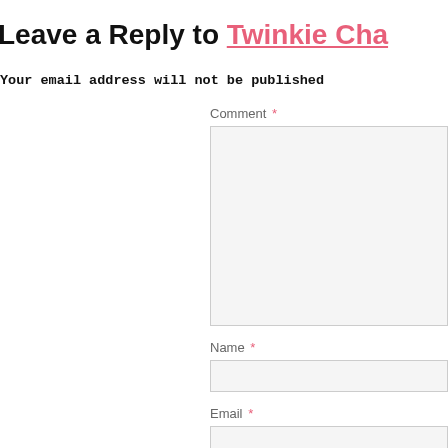Leave a Reply to Twinkie Cha
Your email address will not be published
Comment *
Name *
Email *
Website
Notify of follow-up comments by email